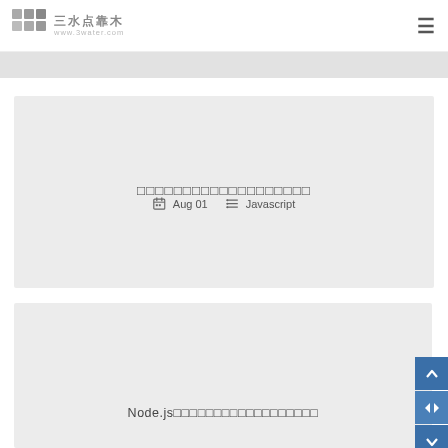三水点靠木 www.3water.com
[Figure (screenshot): Gray separator bar below header]
□□□□□□□□□□□□□□□□□□□
Aug 01   Javascript
Node.js□□□□□□□□□□□□□□□□□□